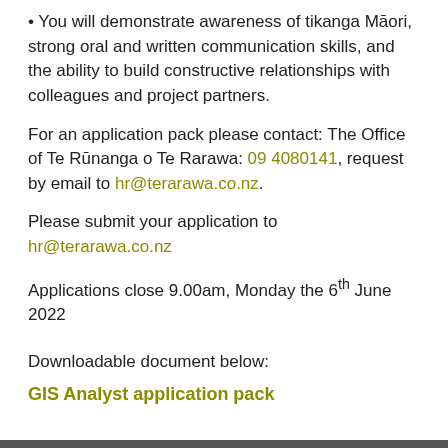• You will demonstrate awareness of tikanga Māori, strong oral and written communication skills, and the ability to build constructive relationships with colleagues and project partners.
For an application pack please contact: The Office of Te Rūnanga o Te Rarawa: 09 4080141, request by email to hr@terarawa.co.nz.
Please submit your application to hr@terarawa.co.nz
Applications close 9.00am, Monday the 6th June 2022
Downloadable document below:
GIS Analyst application pack